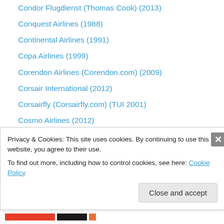Condor Flugdienst (Thomas Cook) (2013)
Conquest Airlines (1988)
Continental Airlines (1991)
Copa Airlines (1999)
Corendon Airlines (Corendon.com) (2009)
Corsair International (2012)
Corsairfly (Corsairfly.com) (TUI 2001)
Cosmo Airlines (2012)
Cubana de Aviacion (1994)
Cyprus Airways (1991)
Cyprus Airways (2002)
Cyprus Turkish Airlines (2009)
Czech Airlines-CSA (1992)
Privacy & Cookies: This site uses cookies. By continuing to use this website, you agree to their use. To find out more, including how to control cookies, see here: Cookie Policy
Close and accept